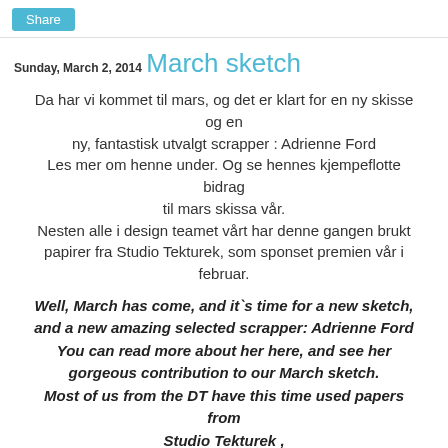Share
Sunday, March 2, 2014
March sketch
Da har vi kommet til mars, og det er klart for en ny skisse og en
ny, fantastisk utvalgt scrapper : Adrienne Ford
Les mer om henne under. Og se hennes kjempeflotte bidrag til mars skissa vår.
Nesten alle i design teamet vårt har denne gangen brukt papirer fra Studio Tekturek, som sponset premien vår i februar.
Well, March has come, and it`s time for a new sketch, and a new amazing selected scrapper: Adrienne Ford
You can read more about her here, and see her gorgeous contribution to our March sketch.
Most of us from the DT have this time used papers from Studio Tekturek ,
that was our sponsor last month.